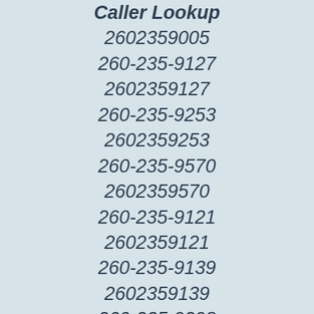Caller Lookup
2602359005
260-235-9127
2602359127
260-235-9253
2602359253
260-235-9570
2602359570
260-235-9121
2602359121
260-235-9139
2602359139
260-235-9298
2602359298
260-235-9493
2602359493